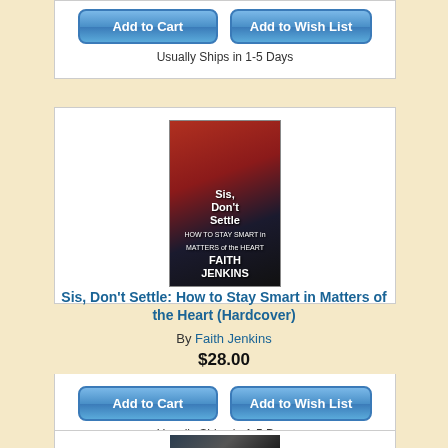[Figure (other): Add to Cart button (blue rounded rectangle)]
[Figure (other): Add to Wish List button (blue rounded rectangle)]
Usually Ships in 1-5 Days
[Figure (photo): Book cover: Sis, Don't Settle: How to Stay Smart in Matters of the Heart by Faith Jenkins. Red jacket woman on dark background.]
Sis, Don't Settle: How to Stay Smart in Matters of the Heart (Hardcover)
By Faith Jenkins
$28.00
[Figure (other): Add to Cart button (blue rounded rectangle)]
[Figure (other): Add to Wish List button (blue rounded rectangle)]
Usually Ships in 1-5 Days
[Figure (photo): Book cover: Michael Pack & Mark Paoletta book, showing an older man in dark jacket.]